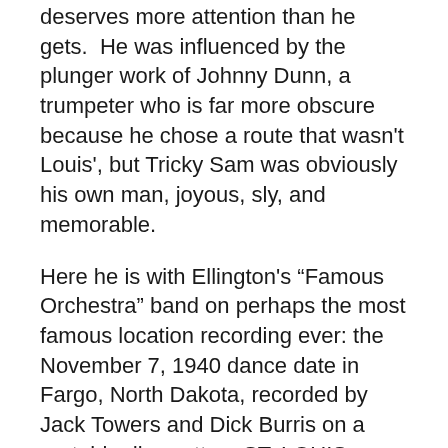deserves more attention than he gets.  He was influenced by the plunger work of Johnny Dunn, a trumpeter who is far more obscure because he chose a route that wasn't Louis', but Tricky Sam was obviously his own man, joyous, sly, and memorable.
Here he is with Ellington's “Famous Orchestra” band on perhaps the most famous location recording ever: the November 7, 1940 dance date in Fargo, North Dakota, recorded by Jack Towers and Dick Burris on a portable disc cutter.  ST. LOUIS BLUES, unbuttoned and raucous, closed the evening, with solos by Ray Nance, cornet; Barney Bigard, clarinet; Ivie Anderson, vocal; Ben Webster, tenor saxophone; and Tricky Sam — before the band combines BLACK AND TAN FANTASY and RHAPSODY IN BLUE to end.  (The complete band was Duke, Rex Stewart, Ray Nance, Wallace Jones, Tricky